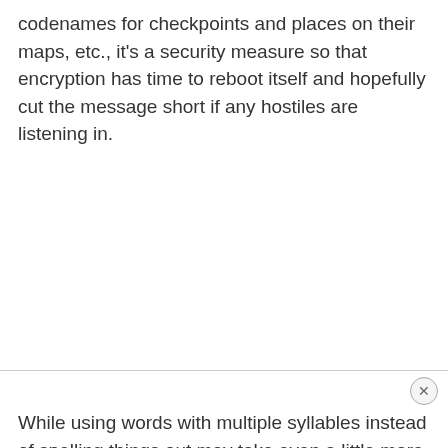codenames for checkpoints and places on their maps, etc., it's a security measure so that encryption has time to reboot itself and hopefully cut the message short if any hostiles are listening in.
While using words with multiple syllables instead of spelling things out may take even a little more precious time, clarification supersedes saving those